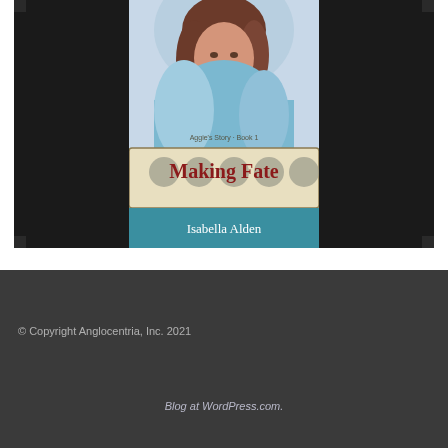[Figure (illustration): Book cover for 'Making Fate' by Isabella Alden displayed on a dark tablet/device frame. The cover shows a portrait-style painting of a young woman with brown hair wearing a light blue dress. The title 'Making Fate' appears in dark red serif text on a cream banner with decorative circular medallions. Below the title is the author name 'Isabella Alden' in white text on a teal background. Small text above reads 'Aggie's Story - Book 1'.]
© Copyright Anglocentria, Inc. 2021
Blog at WordPress.com.